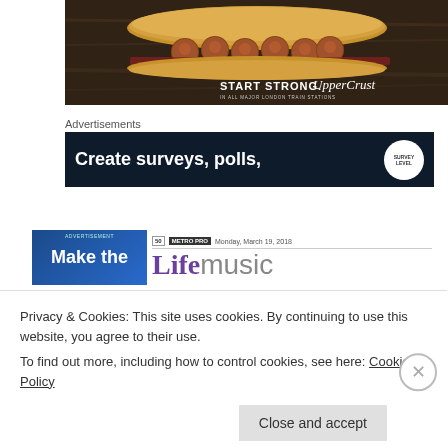[Figure (photo): Advertisement for Upper Crust showing a meatball sub sandwich on a wooden background with text 'START STRONG. Upper Crust IN ALL MAJOR LONDON TRAIN STATIONS']
Advertisements
[Figure (screenshot): Advertisement banner with dark navy background showing text 'Create surveys, polls,' with a circular logo on the right]
[Figure (screenshot): Metro newspaper Life music section header showing 'Make the' advertisement on left and 'Life music' masthead with Metro Pro branding and date Monday March 19, 2018]
Privacy & Cookies: This site uses cookies. By continuing to use this website, you agree to their use.
To find out more, including how to control cookies, see here: Cookie Policy
Close and accept